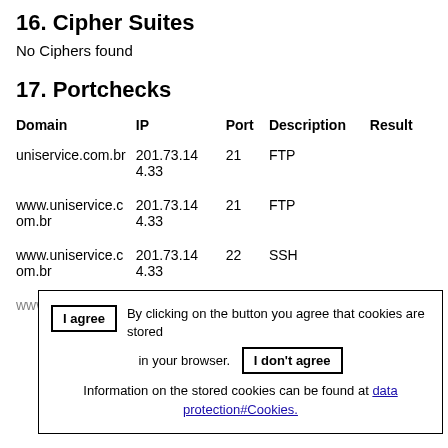16. Cipher Suites
No Ciphers found
17. Portchecks
| Domain | IP | Port | Description | Result |
| --- | --- | --- | --- | --- |
| uniservice.com.br | 201.73.144.33 | 21 | FTP |  |
| www.uniservice.com.br | 201.73.144.33 | 21 | FTP |  |
| www.uniservice.com.br | 201.73.144.33 | 22 | SSH |  |
| www.uniservice.com.br | 201.73.14 | 25 | SMTP |  |
I agree  By clicking on the button you agree that cookies are stored in your browser.  I don't agree  Information on the stored cookies can be found at data protection#Cookies.